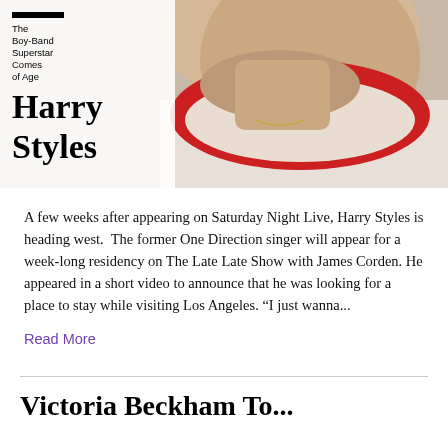[Figure (photo): Magazine cover showing Harry Styles from the chin/neck down wearing a red and white shirt. Text overlay reads: black rule bar, 'The Boy-Band Superstar Comes of Age', 'Harry Styles' in large bold serif font.]
A few weeks after appearing on Saturday Night Live, Harry Styles is heading west. The former One Direction singer will appear for a week-long residency on The Late Late Show with James Corden. He appeared in a short video to announce that he was looking for a place to stay while visiting Los Angeles. “I just wanna...
Read More
Victoria Beckham To...